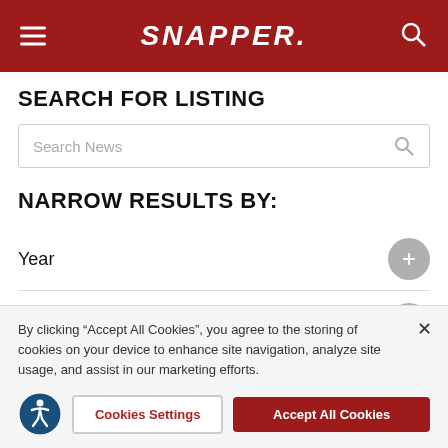SNAPPER
SEARCH FOR LISTING
Search News
NARROW RESULTS BY:
Year
Category
By clicking "Accept All Cookies", you agree to the storing of cookies on your device to enhance site navigation, analyze site usage, and assist in our marketing efforts.
Cookies Settings
Accept All Cookies